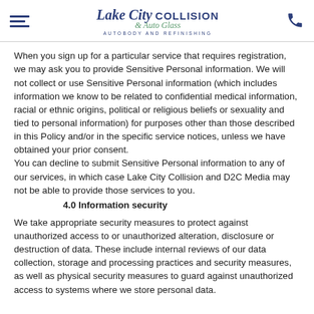Lake City Collision & Auto Glass — Autobody and Refinishing
When you sign up for a particular service that requires registration, we may ask you to provide Sensitive Personal information. We will not collect or use Sensitive Personal information (which includes information we know to be related to confidential medical information, racial or ethnic origins, political or religious beliefs or sexuality and tied to personal information) for purposes other than those described in this Policy and/or in the specific service notices, unless we have obtained your prior consent.
You can decline to submit Sensitive Personal information to any of our services, in which case Lake City Collision and D2C Media may not be able to provide those services to you.
4.0 Information security
We take appropriate security measures to protect against unauthorized access to or unauthorized alteration, disclosure or destruction of data. These include internal reviews of our data collection, storage and processing practices and security measures, as well as physical security measures to guard against unauthorized access to systems where we store personal data.